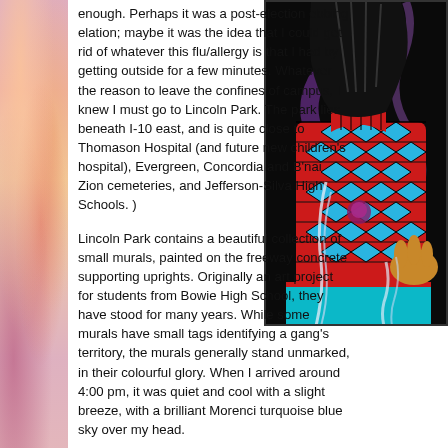enough. Perhaps it was a post-election ebbing elation; maybe it was the idea that I could get rid of whatever this flu/allergy is that I had by getting outside for a few minutes. Whatever the reason to leave the confines of campus, I knew I must go to Lincoln Park. The park lies beneath I-10 east, and is quite close to Thomason Hospital (and future new children's hospital), Evergreen, Concordia and B'nai Zion cemeteries, and Jefferson-Silva High Schools. )
Lincoln Park contains a beautiful collection of small murals, painted on the freeway concrete supporting uprights. Originally an art project for students from Bowie High School, they have stood for many years. While some murals have small tags identifying a gang's territory, the murals generally stand unmarked, in their colourful glory. When I arrived around 4:00 pm, it was quiet and cool with a slight breeze, with a brilliant Morenci turquoise blue sky over my head.
[Figure (photo): A colorful mural showing a figure wearing a red geometric patterned garment with blue diamond shapes, with an outstretched hand visible at the top and flowing white ribbon/smoke elements against a dark background with purple swirling designs.]